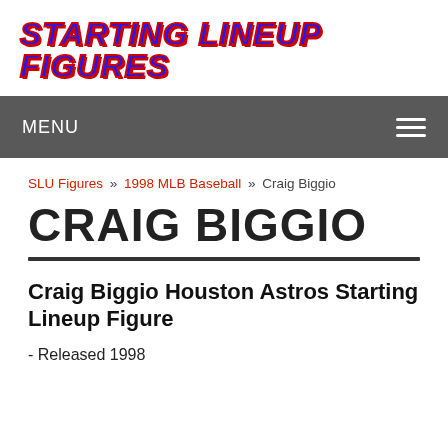STARTING LINEUP FIGURES
MENU
SLU Figures » 1998 MLB Baseball » Craig Biggio
CRAIG BIGGIO
Craig Biggio Houston Astros Starting Lineup Figure
- Released 1998